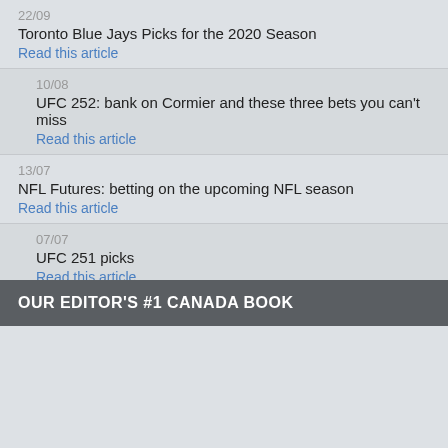22/09
Toronto Blue Jays Picks for the 2020 Season
Read this article
10/08
UFC 252: bank on Cormier and these three bets you can't miss
Read this article
13/07
NFL Futures: betting on the upcoming NFL season
Read this article
07/07
UFC 251 picks
Read this article
OUR EDITOR'S #1 CANADA BOOK